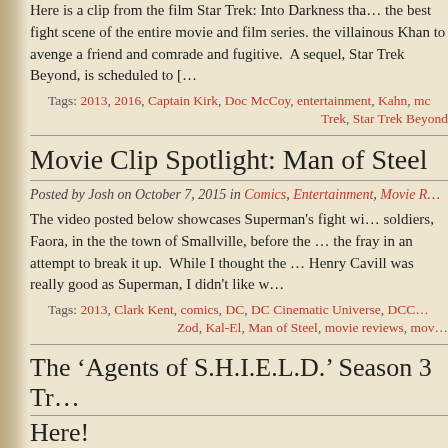Here is a clip from the film Star Trek: Into Darkness that the best fight scene of the entire movie and film series. the villainous Khan to avenge a friend and comrade and fugitive. A sequel, Star Trek Beyond, is scheduled to […
Tags: 2013, 2016, Captain Kirk, Doc McCoy, entertainment, Kahn, mo… Trek, Star Trek Beyond
Movie Clip Spotlight: Man of Steel
Posted by Josh on October 7, 2015 in Comics, Entertainment, Movie R…
The video posted below showcases Superman's fight wi… soldiers, Faora, in the the town of Smallville, before the … the fray in an attempt to break it up. While I thought the … Henry Cavill was really good as Superman, I didn't like w…
Tags: 2013, Clark Kent, comics, DC, DC Cinematic Universe, DCC… Zod, Kal-El, Man of Steel, movie reviews, mov…
The 'Agents of S.H.I.E.L.D.' Season 3 Tr… Here!